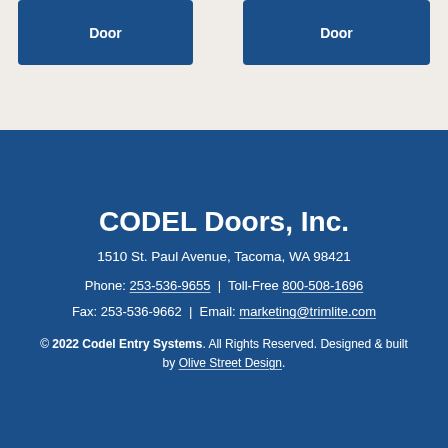[Figure (other): Two partially visible blue buttons labeled 'Door' on a beige/light background at the top of the page]
CODEL Doors, Inc.
1510 St. Paul Avenue, Tacoma, WA 98421
Phone: 253-536-9655 | Toll-Free 800-508-1696
Fax: 253-536-9662 | Email: marketing@trimlite.com
© 2022 Codel Entry Systems. All Rights Reserved. Designed & built by Olive Street Design.